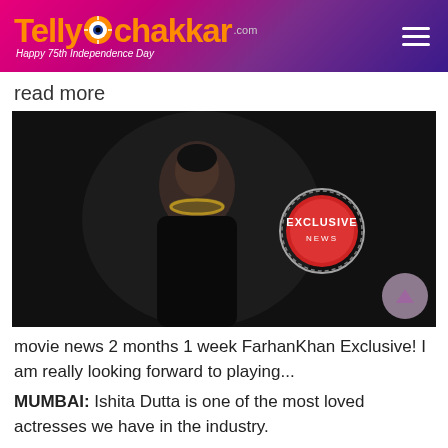TellyChakkar.com — Happy 75th Independence Day
read more
[Figure (photo): A woman in a black outfit with a gold necklace posing against a dark background, with an EXCLUSIVE NEWS badge overlaid on the right side of the image.]
movie news 2 months 1 week FarhanKhan Exclusive! I am really looking forward to playing...
MUMBAI: Ishita Dutta is one of the most loved actresses we have in the industry.